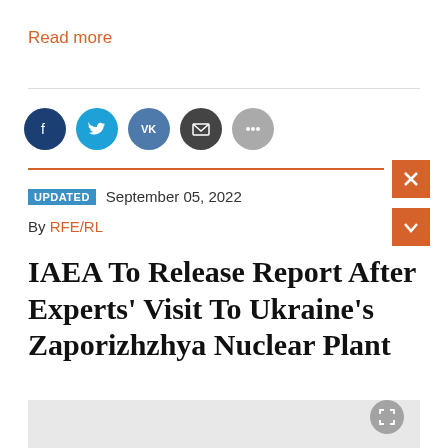Read more
[Figure (other): Social media sharing icons: Facebook, Twitter, VK, Email, More (ellipsis)]
UPDATED  September 05, 2022
By RFE/RL
IAEA To Release Report After Experts' Visit To Ukraine's Zaporizhzhya Nuclear Plant
[Figure (photo): Partial image area at bottom of page, light gray background, partially visible content]